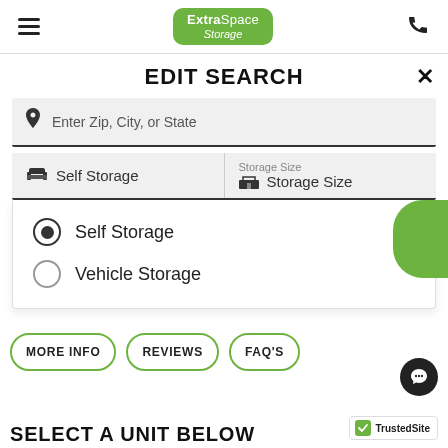ExtraSpace Storage — navigation header with hamburger menu and phone icon
EDIT SEARCH
Enter Zip, City, or State
Self Storage | Storage Size / Storage Size
Self Storage (selected)
Vehicle Storage
MORE INFO
REVIEWS
FAQ'S
SELECT A UNIT BELOW